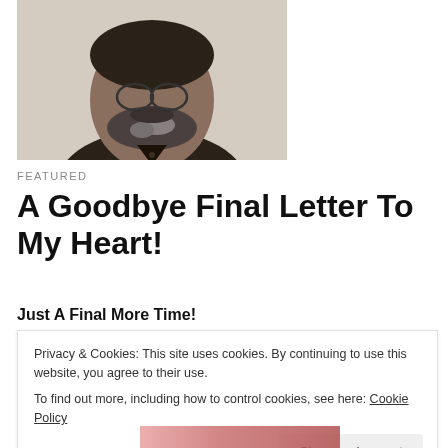[Figure (photo): Portrait photo of a bearded man wearing a dark shirt, cropped to show head and upper chest]
FEATURED
A Goodbye Final Letter To My Heart!
Just A Final More Time!
Privacy & Cookies: This site uses cookies. By continuing to use this website, you agree to their use.
To find out more, including how to control cookies, see here: Cookie Policy
Close and accept